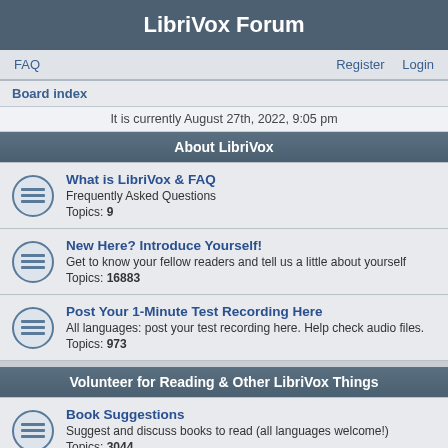LibriVox Forum
FAQ | Register | Login
Board index
It is currently August 27th, 2022, 9:05 pm
About LibriVox
What is LibriVox & FAQ
Frequently Asked Questions
Topics: 9
New Here? Introduce Yourself!
Get to know your fellow readers and tell us a little about yourself
Topics: 16883
Post Your 1-Minute Test Recording Here
All languages: post your test recording here. Help check audio files.
Topics: 973
Volunteer for Reading & Other LibriVox Things
Book Suggestions
Suggest and discuss books to read (all languages welcome!)
Topics: 3044
New Projects Launch Pad
Post ALL new projects here (solos, books, short works/poetry collections,